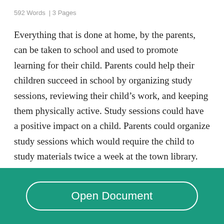592 Words  | 3 Pages
Everything that is done at home, by the parents, can be taken to school and used to promote learning for their child. Parents could help their children succeed in school by organizing study sessions, reviewing their child’s work, and keeping them physically active. Study sessions could have a positive impact on a child. Parents could organize study sessions which would require the child to study materials twice a week at the town library. These sessions at t[REDACTED]d provide them